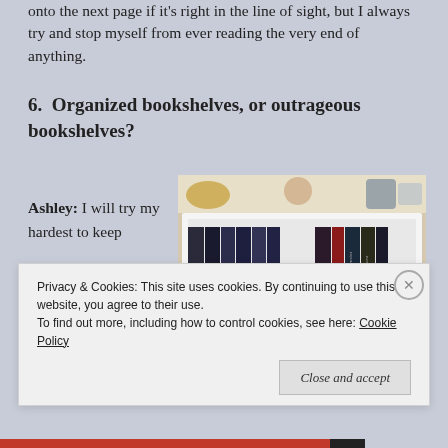onto the next page if it's right in the line of sight, but I always try and stop myself from ever reading the very end of anything.
6.  Organized bookshelves, or outrageous bookshelves?
Ashley: I will try my hardest to keep
[Figure (photo): A white bookshelf filled with dark-spined books, two mugs with text, and decorative items on top including a gold bowl and other objects.]
Privacy & Cookies: This site uses cookies. By continuing to use this website, you agree to their use.
To find out more, including how to control cookies, see here: Cookie Policy
Close and accept